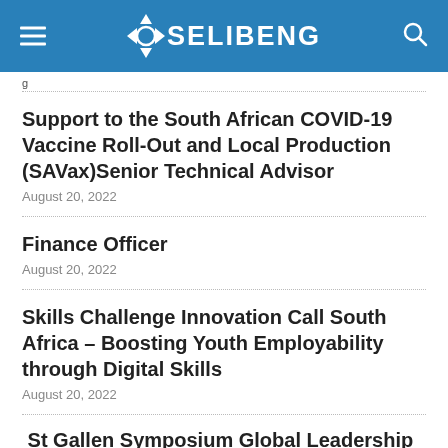OSELIBENG
g
Support to the South African COVID-19 Vaccine Roll-Out and Local Production (SAVax)Senior Technical Advisor
August 20, 2022
Finance Officer
August 20, 2022
Skills Challenge Innovation Call South Africa – Boosting Youth Employability through Digital Skills
August 20, 2022
St Gallen Symposium Global Leadership Challenge 2022